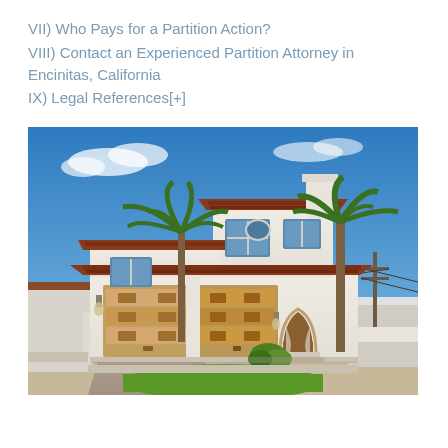VII)  Who Pays for a Partition Action?
VIII)  Contact an Experienced Partition Attorney in Encinitas, California
IX)  Legal References[+]
[Figure (photo): Exterior photo of a two-story Spanish-style stucco house with red tile roof, two wooden garage doors, arched entryway, palm trees, and a small front lawn under a blue sky.]